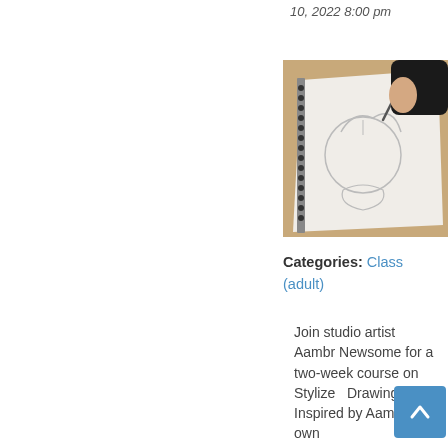10, 2022 8:00 pm
[Figure (photo): Person's hand holding a pencil drawing an anime/stylized character sketch in a spiral-bound sketchbook on a wooden table]
Categories: Class (adult)
Join studio artist Aambr Newsome for a two-week course on Stylized Drawing. Inspired by Aambr's own